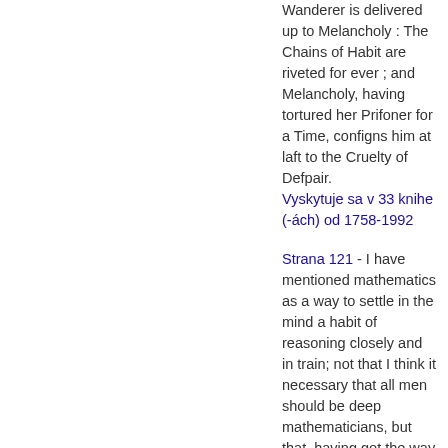Wanderer is delivered up to Melancholy : The Chains of Habit are riveted for ever ; and Melancholy, having tortured her Prifoner for a Time, configns him at laft to the Cruelty of Defpair.
Vyskytuje sa v 33 knihe (-ách) od 1758-1992
Strana 121 - I have mentioned mathematics as a way to settle in the mind a habit of reasoning closely and in train; not that I think it necessary that all men should be deep mathematicians, but that, having got the way of reasoning, which that study necessarily brings the mind to, they might be able to transfer